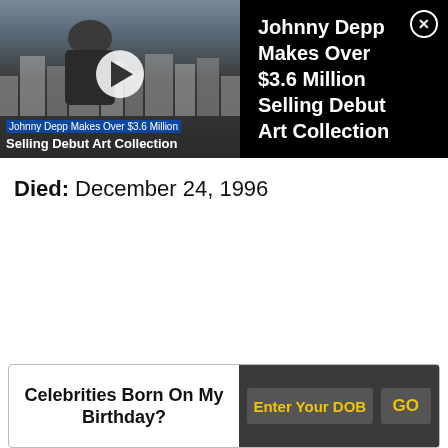[Figure (screenshot): Video thumbnail showing a person in a coat and cap with city buildings in background, with play button overlay and caption 'Johnny Depp Makes Over $3.6 Million Selling Debut Art Collection']
Johnny Depp Makes Over $3.6 Million Selling Debut Art Collection
Died: December 24, 1996
Celebrities Born On My Birthday?  Enter Your DOB  GO